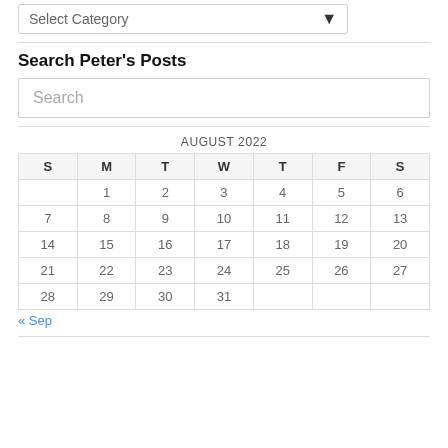[Figure (other): Select Category dropdown widget at top of page]
Search Peter's Posts
[Figure (other): Search input box with placeholder text 'Search']
| S | M | T | W | T | F | S |
| --- | --- | --- | --- | --- | --- | --- |
|  | 1 | 2 | 3 | 4 | 5 | 6 |
| 7 | 8 | 9 | 10 | 11 | 12 | 13 |
| 14 | 15 | 16 | 17 | 18 | 19 | 20 |
| 21 | 22 | 23 | 24 | 25 | 26 | 27 |
| 28 | 29 | 30 | 31 |  |  |  |
« Sep